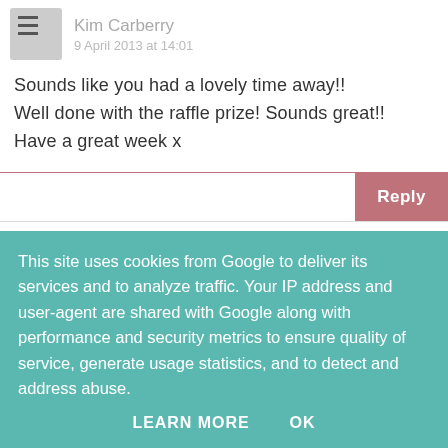Kim Carberry
9 April 2013 at 14:01
Sounds like you had a lovely time away!!
Well done with the raffle prize! Sounds great!!
Have a great week x
Reply
Foodie Quine
9 April 2013 at 18:27
This site uses cookies from Google to deliver its services and to analyze traffic. Your IP address and user-agent are shared with Google along with performance and security metrics to ensure quality of service, generate usage statistics, and to detect and address abuse.
LEARN MORE
OK